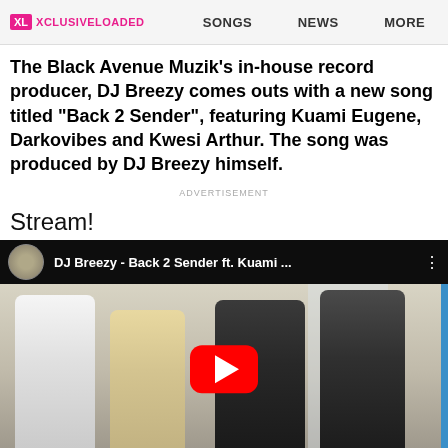XCLUSIVELOADED | SONGS | NEWS | MORE
The Black Avenue Muzik's in-house record producer, DJ Breezy comes outs with a new song titled "Back 2 Sender", featuring Kuami Eugene, Darkovibes and Kwesi Arthur. The song was produced by DJ Breezy himself.
ADVERTISEMENT
Stream!
[Figure (screenshot): YouTube video embed showing DJ Breezy - Back 2 Sender ft. Kuami ... with thumbnail of several men dancing/posing and a red YouTube play button overlay]